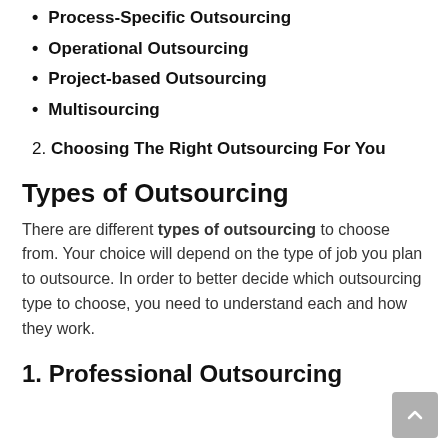Process-Specific Outsourcing
Operational Outsourcing
Project-based Outsourcing
Multisourcing
2. Choosing The Right Outsourcing For You
Types of Outsourcing
There are different types of outsourcing to choose from. Your choice will depend on the type of job you plan to outsource. In order to better decide which outsourcing type to choose, you need to understand each and how they work.
1. Professional Outsourcing